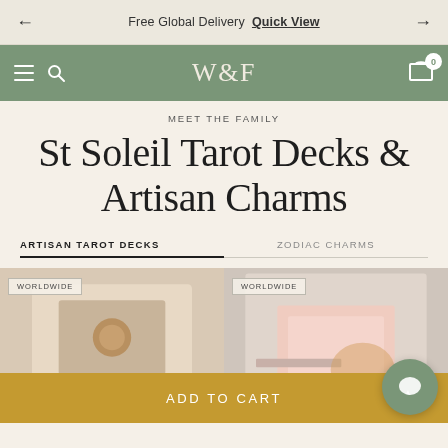Free Global Delivery  Quick View
[Figure (screenshot): W&F store navigation bar with hamburger menu, search icon, logo W&F, and shopping cart with badge 0]
MEET THE FAMILY
St Soleil Tarot Decks & Artisan Charms
ARTISAN TAROT DECKS   ZODIAC CHARMS
[Figure (photo): Two product images side by side. Left: tarot deck flat lay on beige background with gold seal, WORLDWIDE badge. Right: pink book/cards on wooden tray, WORLDWIDE badge. ADD TO CART bar at bottom. Chat bubble bottom right.]